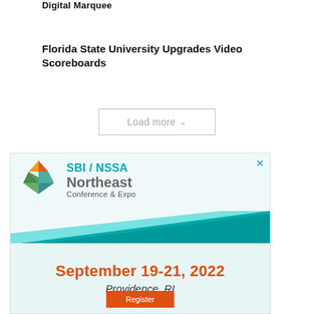Digital Marquee
Florida State University Upgrades Video Scoreboards
Load more
[Figure (illustration): SBI/NSSA Northeast Conference & Expo advertisement banner. Shows the SBI/NSSA logo (diamond shape with green, orange, red segments), text 'SBI / NSSA Northeast Conference & Expo', teal triangle background graphic, date 'September 19-21, 2022', location 'Providence, RI', and a register button in orange.]